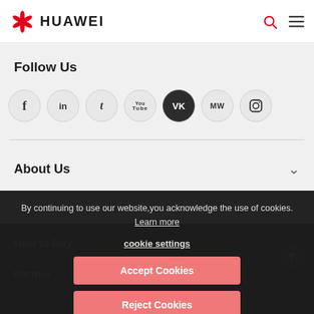HUAWEI
Follow Us
[Figure (other): Social media icons row: Facebook, LinkedIn, Twitter, YouTube, VK, MW, Instagram]
About Us
How to Buy
Partner
By continuing to use our website,you acknowledge the use of cookies. Learn more
cookie settings
Accept Cookies
Reject Cookies